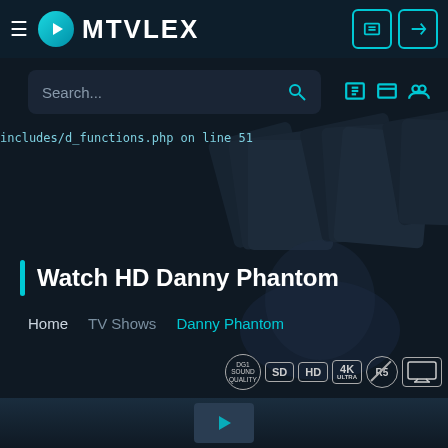MTVLEX
Search...
includes/d_functions.php on line 51
Watch HD Danny Phantom
Home   TV Shows   Danny Phantom
[Figure (other): Quality badges row: Dolby sound quality circular badge, SD badge, HD badge, 4K ULTRA badge, no-ads circular badge, screen/devices icon badge]
[Figure (screenshot): Bottom strip showing partial animated content thumbnail]